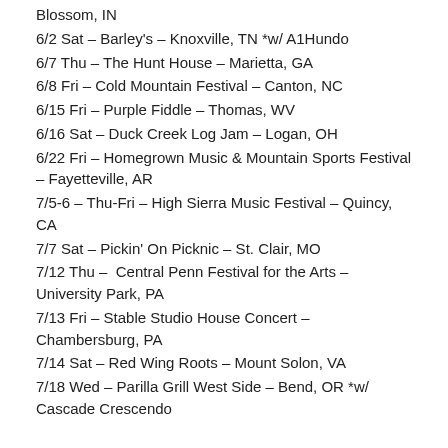Blossom, IN
6/2 Sat – Barley's – Knoxville, TN *w/ A1Hundo
6/7 Thu – The Hunt House – Marietta, GA
6/8 Fri – Cold Mountain Festival – Canton, NC
6/15 Fri – Purple Fiddle – Thomas, WV
6/16 Sat – Duck Creek Log Jam – Logan, OH
6/22 Fri – Homegrown Music & Mountain Sports Festival – Fayetteville, AR
7/5-6 – Thu-Fri – High Sierra Music Festival – Quincy, CA
7/7 Sat – Pickin' On Picknic – St. Clair, MO
7/12 Thu –  Central Penn Festival for the Arts – University Park, PA
7/13 Fri – Stable Studio House Concert – Chambersburg, PA
7/14 Sat – Red Wing Roots – Mount Solon, VA
7/18 Wed – Parilla Grill West Side – Bend, OR *w/ Cascade Crescendo